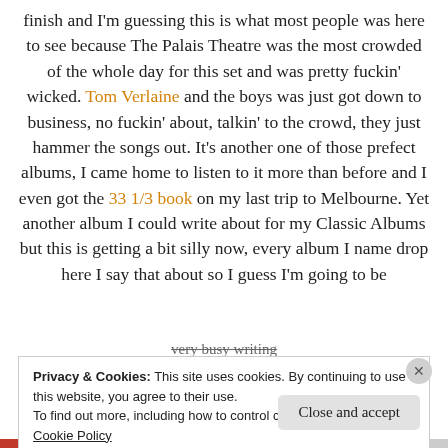finish and I'm guessing this is what most people was here to see because The Palais Theatre was the most crowded of the whole day for this set and was pretty fuckin' wicked. Tom Verlaine and the boys was just got down to business, no fuckin' about, talkin' to the crowd, they just hammer the songs out. It's another one of those prefect albums, I came home to listen to it more than before and I even got the 33 1/3 book on my last trip to Melbourne. Yet another album I could write about for my Classic Albums but this is getting a bit silly now, every album I name drop here I say that about so I guess I'm going to be
very busy writing
Privacy & Cookies: This site uses cookies. By continuing to use this website, you agree to their use.
To find out more, including how to control cookies, see here:
Cookie Policy